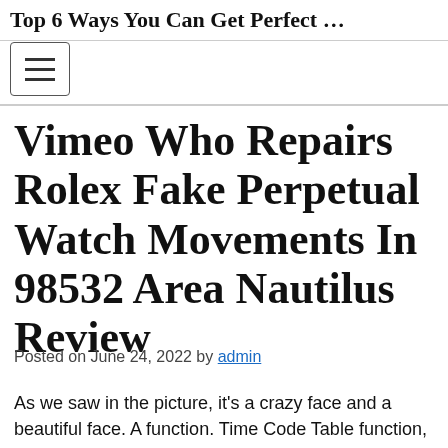Top 6 Ways You Can Get Perfect …
[Figure (other): Navigation toggle button (hamburger menu icon)]
Vimeo Who Repairs Rolex Fake Perpetual Watch Movements In 98532 Area Nautilus Review
Posted on June 24, 2022 by admin
As we saw in the picture, it's a crazy face and a beautiful face. A function. Time Code Table function, fake Step copy 6:00, Sun, websites Moon, 12:00, 24 Hours 9:00 I'm